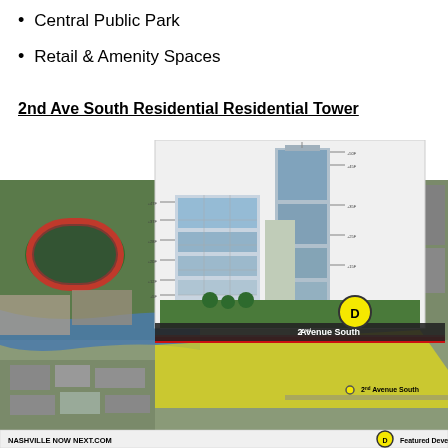Central Public Park
Retail & Amenity Spaces
2nd Ave South Residential Residential Tower
[Figure (illustration): Architectural rendering of 2nd Ave South Residential Tower overlaid on an aerial satellite map of Nashville showing the development site near 2nd Avenue South, with a yellow highlighted zone indicating the project area, a circle marker labeled D, and a banner reading '2nd Avenue South'. Footer text reads 'NASHVILLE NOW NEXT.COM' and 'Featured Development'.]